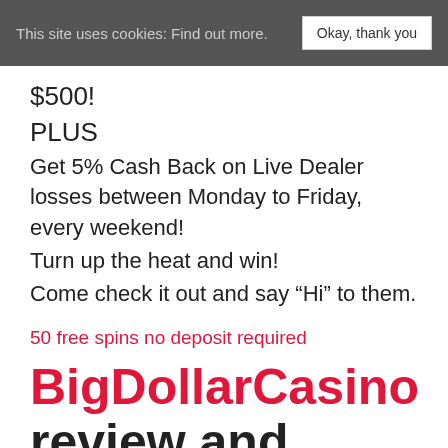This site uses cookies: Find out more.  Okay, thank you
$500!
PLUS
Get 5% Cash Back on Live Dealer losses between Monday to Friday, every weekend!
Turn up the heat and win!
Come check it out and say “Hi” to them.
50 free spins no deposit required
BigDollarCasino review and promotions